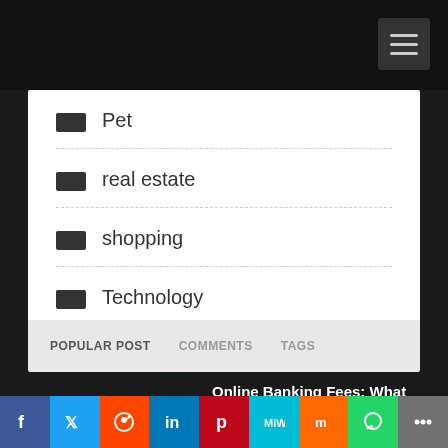Navigation bar with hamburger menu
Pet
real estate
shopping
Technology
POPULAR POST | COMMENTS | TAGS
Online Banking Fees: What You Need to Know
Social share bar: Facebook, Twitter, Reddit, LinkedIn, Pinterest, MeWe, Mix, WhatsApp, Share